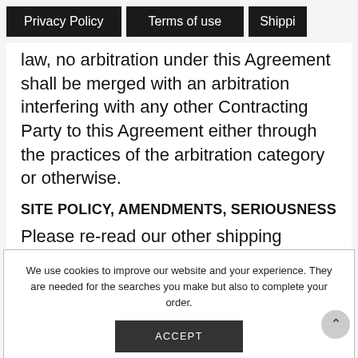Privacy Policy | Terms of use | Shippi
law, no arbitration under this Agreement shall be merged with an arbitration interfering with any other Contracting Party to this Agreement either through the practices of the arbitration category or otherwise.
SITE POLICY, AMENDMENTS, SERIOUSNESS
Please re-read our other shipping
We use cookies to improve our website and your experience. They are needed for the searches you make but also to complete your order.
ACCEPT